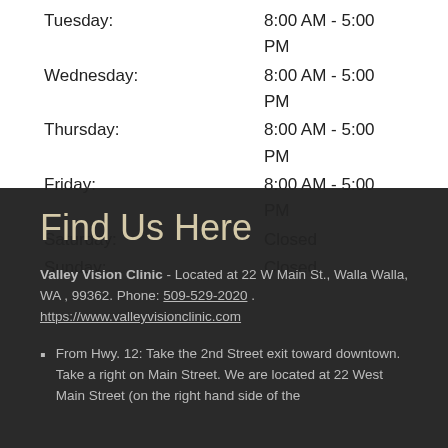Tuesday: 8:00 AM - 5:00 PM
Wednesday: 8:00 AM - 5:00 PM
Thursday: 8:00 AM - 5:00 PM
Friday: 8:00 AM - 5:00 PM
Saturday: Closed
Sunday: Closed
Find Us Here
Valley Vision Clinic - Located at 22 W Main St., Walla Walla, WA , 99362. Phone: 509-529-2020 . https://www.valleyvisionclinic.com
From Hwy. 12: Take the 2nd Street exit toward downtown. Take a right on Main Street. We are located at 22 West Main Street (on the right hand side of the